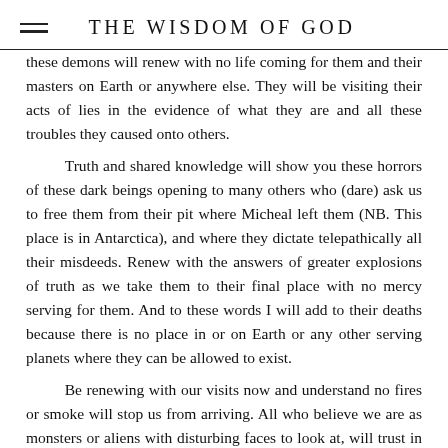THE WISDOM OF GOD
these demons will renew with no life coming for them and their masters on Earth or anywhere else. They will be visiting their acts of lies in the evidence of what they are and all these troubles they caused onto others.
	Truth and shared knowledge will show you these horrors of these dark beings opening to many others who (dare) ask us to free them from their pit where Micheal left them (NB. This place is in Antarctica), and where they dictate telepathically all their misdeeds. Renew with the answers of greater explosions of truth as we take them to their final place with no mercy serving for them. And to these words I will add to their deaths because there is no place in or on Earth or any other serving planets where they can be allowed to exist.
	Be renewing with our visits now and understand no fires or smoke will stop us from arriving. All who believe we are as monsters or aliens with disturbing faces to look at, will trust in who we are and renew with the better seen and evident truth. Be